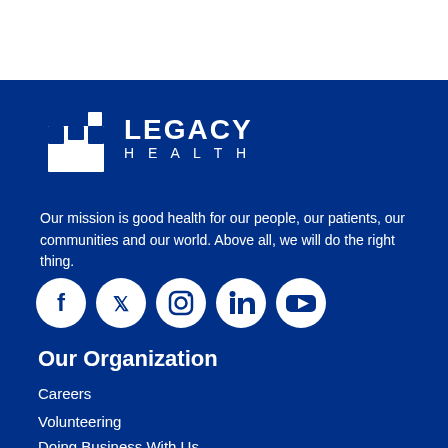[Figure (logo): Legacy Health logo: white cross/medical icon with LEGACY HEALTH text]
Our mission is good health for our people, our patients, our communities and our world. Above all, we will do the right thing.
[Figure (infographic): Social media icons: Facebook, Twitter, Instagram, LinkedIn, YouTube — white circles on dark blue background]
Our Organization
Careers
Volunteering
Doing Business With Us